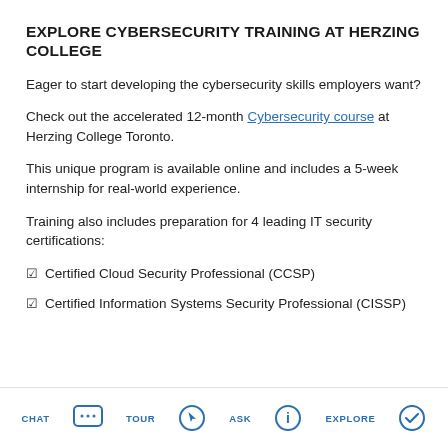EXPLORE CYBERSECURITY TRAINING AT HERZING COLLEGE
Eager to start developing the cybersecurity skills employers want?
Check out the accelerated 12-month Cybersecurity course at Herzing College Toronto.
This unique program is available online and includes a 5-week internship for real-world experience.
Training also includes preparation for 4 leading IT security certifications:
☑ Certified Cloud Security Professional (CCSP)
☑ Certified Information Systems Security Professional (CISSP)
CHAT | TOUR | ASK | EXPLORE